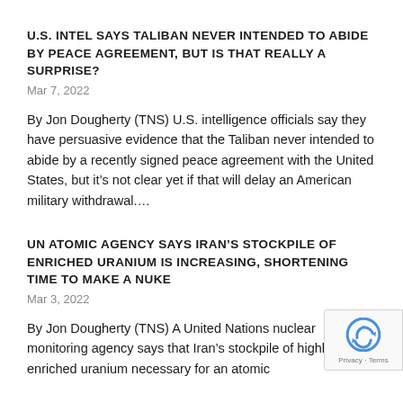U.S. INTEL SAYS TALIBAN NEVER INTENDED TO ABIDE BY PEACE AGREEMENT, BUT IS THAT REALLY A SURPRISE?
Mar 7, 2022
By Jon Dougherty (TNS) U.S. intelligence officials say they have persuasive evidence that the Taliban never intended to abide by a recently signed peace agreement with the United States, but it's not clear yet if that will delay an American military withdrawal.…
UN ATOMIC AGENCY SAYS IRAN'S STOCKPILE OF ENRICHED URANIUM IS INCREASING, SHORTENING TIME TO MAKE A NUKE
Mar 3, 2022
By Jon Dougherty (TNS) A United Nations nuclear monitoring agency says that Iran's stockpile of highly enriched uranium necessary for an atomic